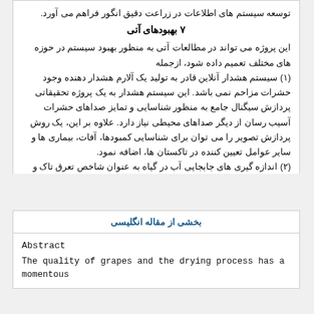توسعه سیستم های اطلاعات در زراعت دقیق انگور فراهم می آورد.
۷ بهبودهای آتی
این پروژه می تواند در مطالعات آتی به منظور بهبود سیستم در حوزه های مختلف تعمیم داده شود، ازجمله
(۱) سیستم هشدار آنلاین قادر به تولید یک آلارم هشدار دهنده وجود حشرات مزاحم نمی باشد. این سیستم هشدار به یک پروژه تحقیقاتی پردازش سیگنال جامع به منظور شناسایی و تمایز صداهای حشرات آسیب رسان از دیگر صداهای محیطی نیاز دارد. علاوه بر این، یک روش پردازش تصویر را می توان برای شناسایی کمبودها، آفات، بیماری ها و سایر عوامل تعیین کننده در تاکستان ها، اضافه نمود.
(۲) اندازه گیری های جابجایی آب در گیاه به عنوان شاخص تعرق تاک و وضعیت آب گیاه در طول فصل می تواند یک ابزار جایگزین برای بهینه سازی و مدیریت آبیاری فراهم آورد. در کارهای آتی، این روش را می توان در سیستم های کنونی WSN به کار برد.
بخشی از مقاله انگلیسی
Abstract
The quality of grapes and the drying process has a momentous